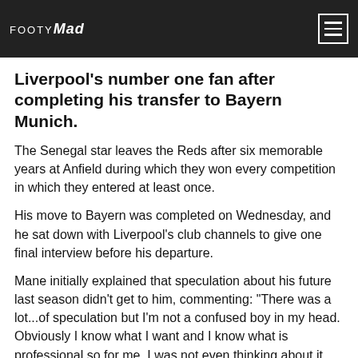FootyMad
Liverpool's number one fan after completing his transfer to Bayern Munich.
The Senegal star leaves the Reds after six memorable years at Anfield during which they won every competition in which they entered at least once.
His move to Bayern was completed on Wednesday, and he sat down with Liverpool's club channels to give one final interview before his departure.
Mane initially explained that speculation about his future last season didn't get to him, commenting: "There was a lot...of speculation but I'm not a confused boy in my head. Obviously I know what I want and I know what is professional so for me, I was not even thinking about it because I was still a Liverpool player and we had really, really important games.